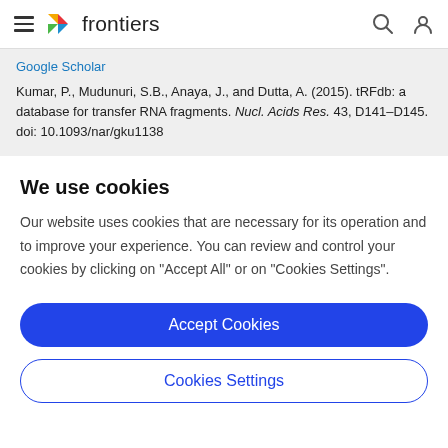frontiers
Google Scholar
Kumar, P., Mudunuri, S.B., Anaya, J., and Dutta, A. (2015). tRFdb: a database for transfer RNA fragments. Nucl. Acids Res. 43, D141–D145. doi: 10.1093/nar/gku1138
We use cookies
Our website uses cookies that are necessary for its operation and to improve your experience. You can review and control your cookies by clicking on "Accept All" or on "Cookies Settings".
Accept Cookies
Cookies Settings